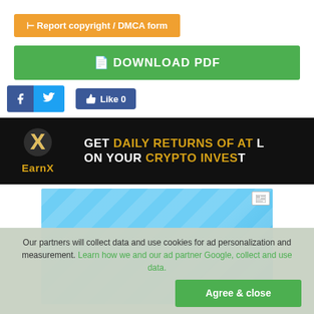⊢ Report copyright / DMCA form
📄 DOWNLOAD PDF
[Figure (other): Social share buttons: Facebook, Twitter, and Like 0 button]
[Figure (other): EarnX advertisement banner: GET DAILY RETURNS OF AT [LEAST X%] ON YOUR CRYPTO INVEST[MENT]]
[Figure (other): Blue advertisement placeholder block with corner icon]
Our partners will collect data and use cookies for ad personalization and measurement. Learn how we and our ad partner Google, collect and use data. Agree & close